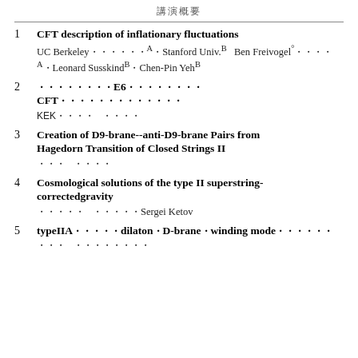講演概要
1. CFT description of inflationary fluctuations
UC Berkeley・・・・・・A・Stanford Univ.B    Ben Freivogel°・・・・
A・Leonard SusskindB・Chen-Pin YehB
2. ・・・・・・・・E6・・・・・・・・CFT・・・・・・・・・・・・・
KEK・・・・    ・・・・
3. Creation of D9-brane--anti-D9-brane Pairs from Hagedorn Transition of Closed Strings II
・・・    ・・・・
4. Cosmological solutions of the type II superstring-correctedgravity
・・・・・    ・・・・・Sergei Ketov
5. typeIIA・・・・・dilaton・D-brane・winding mode・・・・・・
・・・    ・・・・・・・・